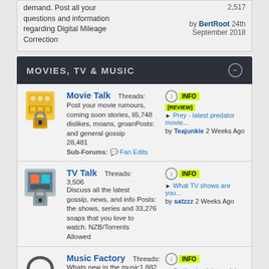demand. Post all your questions and information regarding Digital Mileage Correction
2,517
by BertRoot 24th September 2018
MOVIES, TV & MUSIC
Movie Talk
Threads: 5,748
Post your movie rumours, coming soon stories, likes, dislikes, moans, groans and general gossip
Posts: 28,481
Sub-Forums: Fan Edits
INFO REVIEW
▶ Prey - latest predator movie...
by Teajunkie 2 Weeks Ago
TV Talk
Threads: 3,506
Discuss all the latest gossip, news, and info on the shows, series and soaps that you love to watch. NZB/Torrents Allowed
Posts: 33,276
INFO
▶ What TV shows are you...
by satzzz 2 Weeks Ago
Music Factory
Threads: 1,882
Whats new in the music scene? Whats hot & wh...
Posts:
INFO
▶ Getting back into mixing -...